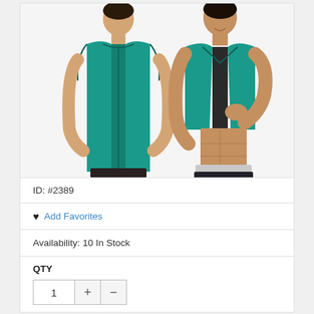[Figure (photo): Two men wearing teal/green neoprene sleeveless fitness vest/waist trainer. One man shown from the back, one from the front lifting the vest to show the interior.]
ID: #2389
♥ Add Favorites
Availability: 10 In Stock
QTY
1